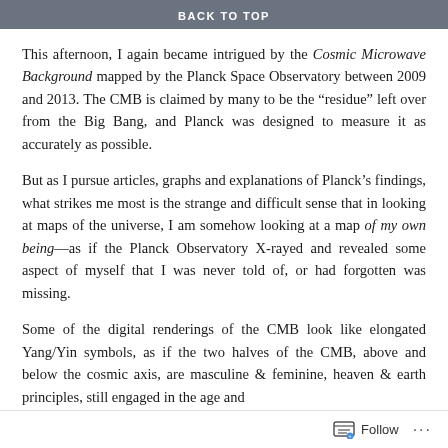BACK TO TOP
This afternoon, I again became intrigued by the Cosmic Microwave Background mapped by the Planck Space Observatory between 2009 and 2013. The CMB is claimed by many to be the “residue” left over from the Big Bang, and Planck was designed to measure it as accurately as possible.
But as I pursue articles, graphs and explanations of Planck’s findings, what strikes me most is the strange and difficult sense that in looking at maps of the universe, I am somehow looking at a map of my own being—as if the Planck Observatory X-rayed and revealed some aspect of myself that I was never told of, or had forgotten was missing.
Some of the digital renderings of the CMB look like elongated Yang/Yin symbols, as if the two halves of the CMB, above and below the cosmic axis, are masculine & feminine, heaven & earth principles, still engaged in the age and